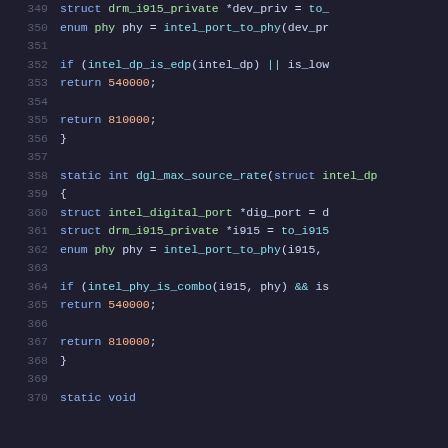[Figure (screenshot): Source code listing (C language) showing lines 349-370 of a Linux kernel DRM i915 driver file. Dark theme code editor with syntax highlighting. Shows two functions: one returning 540000 or 810000 based on intel_dp_is_edp/is_low condition, and dgl_max_source_rate returning 540000 or 810000 based on intel_phy_is_combo condition.]